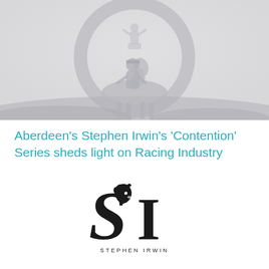[Figure (photo): Greyscale/light grey background image showing a silhouette of a jockey on a horse with a circular ring/wreath shape behind them, misty landscape in the background]
Aberdeen's Stephen Irwin's 'Contention' Series sheds light on Racing Industry
[Figure (logo): Stephen Irwin logo: stylized 'SI' monogram with a horse head incorporated into the letterforms, with 'STEPHEN IRWIN' text below in spaced capitals]